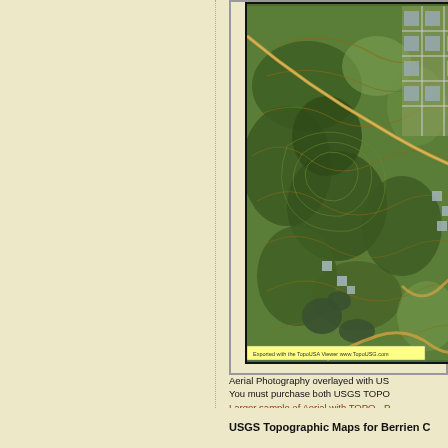[Figure (map): Aerial photography of a landscape overlayed with USGS topographic contour lines. Shows green vegetation, waterways, meandering terrain patterns, and a small settlement/residential area in the upper right. A yellow watermark bar at the bottom reads 'Exported with the TerraUSA Viewer www.TerraUSG.com'.]
Aerial Photography overlayed with US... You must purchase both USGS TOPO... Larger sample of Aerial with TOPO - P... Here are instructions for making the A...
USGS Topographic Maps for Berrien C...